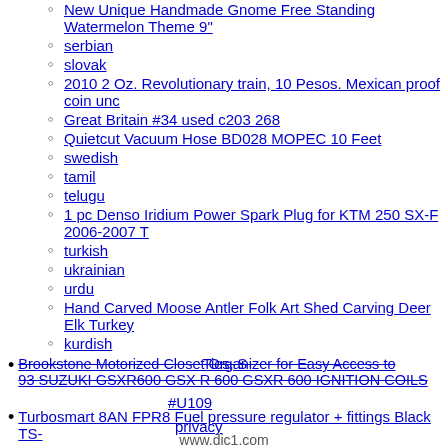New Unique Handmade Gnome Free Standing Watermelon Theme 9"
serbian
slovak
2010 2 Oz. Revolutionary train, 10 Pesos. Mexican proof coin unc
Great Britain #34 used c203 268
Quietcut Vacuum Hose BD028 MOPEC 10 Feet
swedish
tamil
telugu
1 pc Denso Iridium Power Spark Plug for KTM 250 SX-F 2006-2007 T
turkish
ukrainian
urdu
Hand Carved Moose Antler Folk Art Shed Carving Deer Elk Turkey
kurdish
Brookstone Motorized Closet Organizer for Easy Access to Ties, S
93 SUZUKI GSXR600 GSX R 600 GSXR 600 IGNITION COILS #U109
Turbosmart 8AN FPR8 Fuel pressure regulator + fittings Black TS-
privacy
www.dic1.com